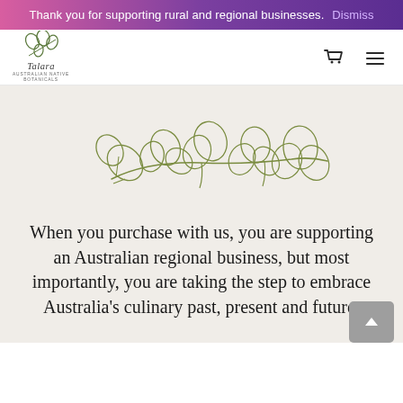Thank you for supporting rural and regional businesses. Dismiss
[Figure (logo): Talara Australian Native Botanicals logo with leaf illustration]
[Figure (illustration): Line drawing of a eucalyptus branch with round leaves in olive green]
When you purchase with us, you are supporting an Australian regional business, but most importantly, you are taking the step to embrace Australia's culinary past, present and future.